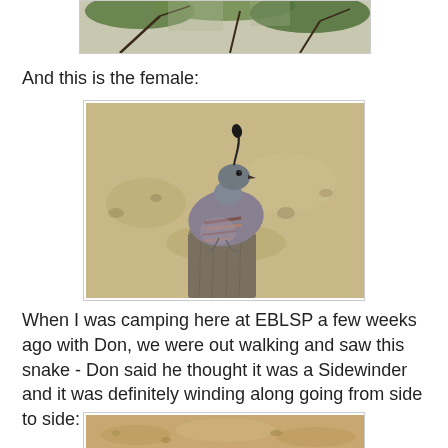[Figure (photo): Top portion of a photo showing green desert shrubs and branches against a pale background — partial crop of previous image]
And this is the female:
[Figure (photo): A female Gambel's quail perched on top of a weathered wooden fence post in a desert setting. The bird is grey-brown with russet-streaked flanks and a small curved plume on its head. Sandy desert ground visible in background.]
When I was camping here at EBLSP a few weeks ago with Don, we were out walking and saw this snake - Don said he thought it was a Sidewinder and it was definitely winding along going from side to side:
[Figure (photo): Bottom partial crop of a photo showing sandy desert ground with a snake — partially visible at bottom of page]